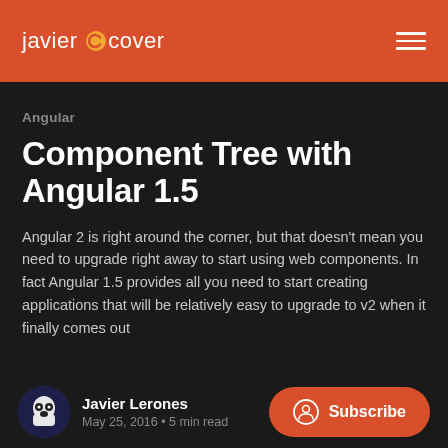javier cover
Angular
Component Tree with Angular 1.5
Angular 2 is right around the corner, but that doesn't mean you need to upgrade right away to start using web components. In fact Angular 1.5 provides all you need to start creating applications that will be relatively easy to upgrade to v2 when it finally comes out
Javier Lerones
May 25, 2016 • 5 min read